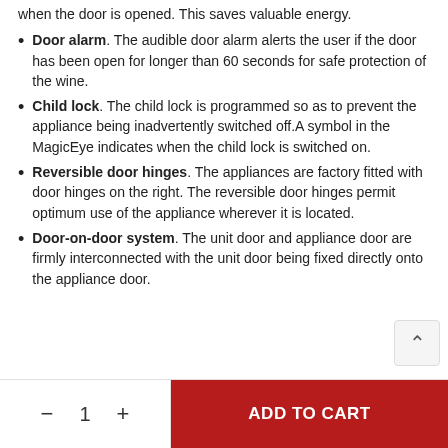when the door is opened. This saves valuable energy.
Door alarm. The audible door alarm alerts the user if the door has been open for longer than 60 seconds for safe protection of the wine.
Child lock. The child lock is programmed so as to prevent the appliance being inadvertently switched off.A symbol in the MagicEye indicates when the child lock is switched on.
Reversible door hinges. The appliances are factory fitted with door hinges on the right. The reversible door hinges permit optimum use of the appliance wherever it is located.
Door-on-door system. The unit door and appliance door are firmly interconnected with the unit door being fixed directly onto the appliance door.
ADD TO CART